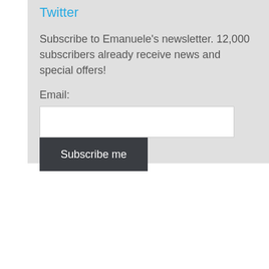Twitter
Subscribe to Emanuele's newsletter. 12,000 subscribers already receive news and special offers!
Email:
[Figure (screenshot): Email input text field (white rectangle) and a dark 'Subscribe me' button below it]